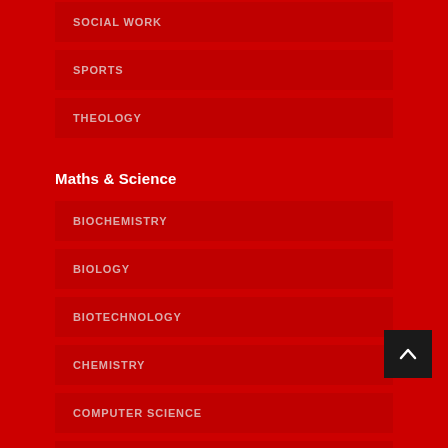SOCIAL WORK
SPORTS
THEOLOGY
Maths & Science
BIOCHEMISTRY
BIOLOGY
BIOTECHNOLOGY
CHEMISTRY
COMPUTER SCIENCE
NUTRITION & DIETETICS
Agriculture